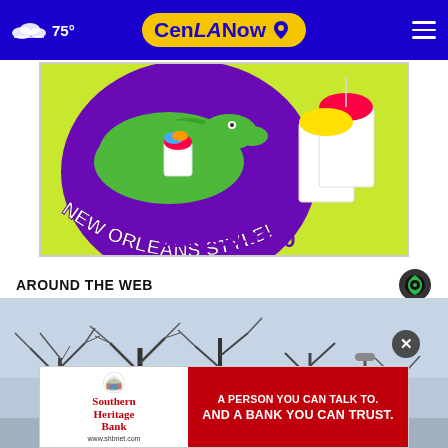75° CenLA Now
[Figure (illustration): New Orleans Style snowball advertisement with cartoon alligator holding a snowball, purple circle logo, yellow-green background, phone number 318-969-9130]
AROUND THE WEB
[Figure (photo): Winter scene with bare tree branches against a grey-blue sky]
[Figure (illustration): Southern Heritage Bank advertisement: A PERSON YOU CAN TALK TO. AND A BANK YOU CAN TRUST. www.shbnet.com]